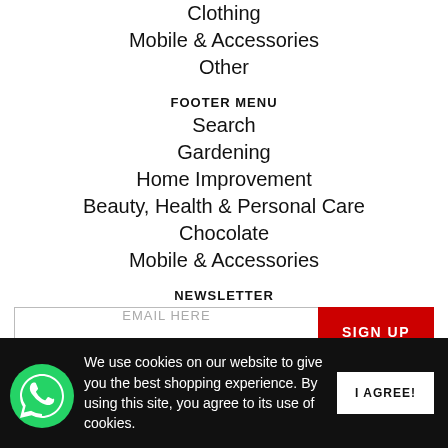Clothing
Mobile & Accessories
Other
FOOTER MENU
Search
Gardening
Home Improvement
Beauty, Health & Personal Care
Chocolate
Mobile & Accessories
NEWSLETTER
EMAIL HERE
SIGN UP
We use cookies on our website to give you the best shopping experience. By using this site, you agree to its use of cookies.
I AGREE!